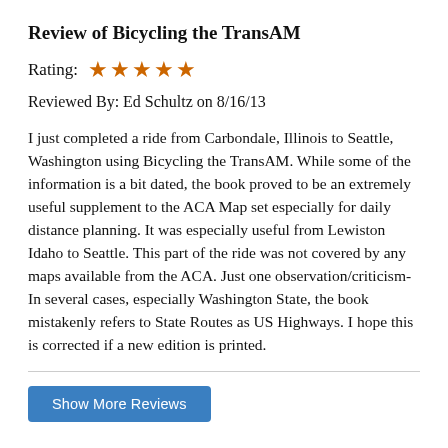Review of Bicycling the TransAM
Rating: ★★★★★
Reviewed By: Ed Schultz on 8/16/13
I just completed a ride from Carbondale, Illinois to Seattle, Washington using Bicycling the TransAM. While some of the information is a bit dated, the book proved to be an extremely useful supplement to the ACA Map set especially for daily distance planning. It was especially useful from Lewiston Idaho to Seattle. This part of the ride was not covered by any maps available from the ACA. Just one observation/criticism- In several cases, especially Washington State, the book mistakenly refers to State Routes as US Highways. I hope this is corrected if a new edition is printed.
Show More Reviews